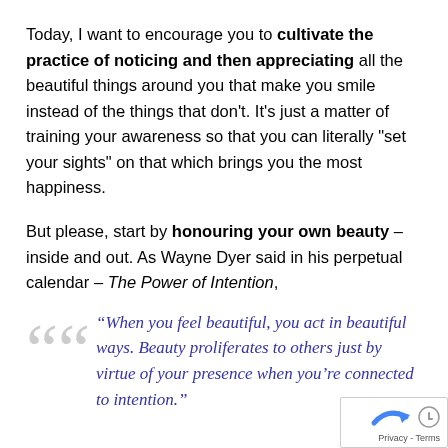Today, I want to encourage you to cultivate the practice of noticing and then appreciating all the beautiful things around you that make you smile instead of the things that don't. It's just a matter of training your awareness so that you can literally “set your sights” on that which brings you the most happiness.

But please, start by honouring your own beauty – inside and out. As Wayne Dyer said in his perpetual calendar – The Power of Intention,
“When you feel beautiful, you act in beautiful ways. Beauty proliferates to others just by virtue of your presence when you’re connected to intention.”